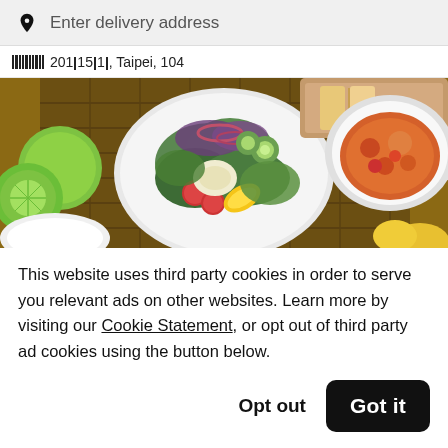Enter delivery address
201 15 1, Taipei, 104
[Figure (photo): Top-down view of food dishes on a wooden table: a large salad bowl with mixed greens, cherry tomatoes, corn, cucumber, red onion, and cheese in center; a bowl of orange curry or soup on the right; limes on the left; a yellow pepper partially visible at the bottom right.]
This website uses third party cookies in order to serve you relevant ads on other websites. Learn more by visiting our Cookie Statement, or opt out of third party ad cookies using the button below.
Opt out
Got it